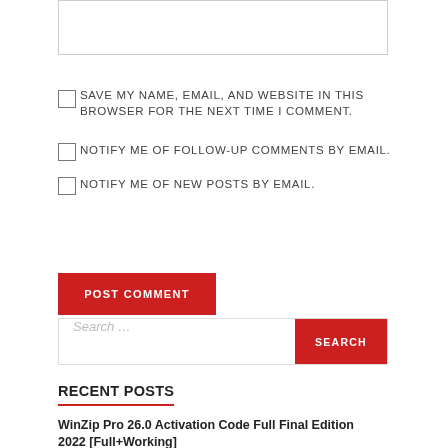[Figure (other): Empty textarea input box with light gray border]
SAVE MY NAME, EMAIL, AND WEBSITE IN THIS BROWSER FOR THE NEXT TIME I COMMENT.
NOTIFY ME OF FOLLOW-UP COMMENTS BY EMAIL.
NOTIFY ME OF NEW POSTS BY EMAIL.
POST COMMENT
Search ...
SEARCH
RECENT POSTS
WinZip Pro 26.0 Activation Code Full Final Edition 2022 [Full+Working]